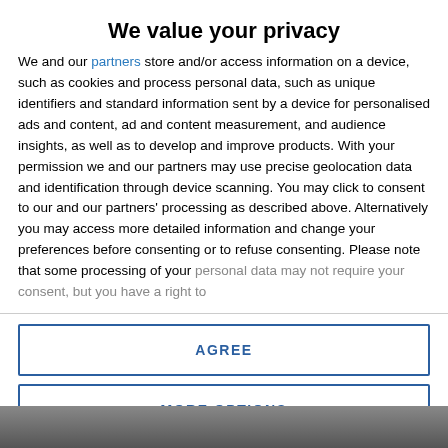We value your privacy
We and our partners store and/or access information on a device, such as cookies and process personal data, such as unique identifiers and standard information sent by a device for personalised ads and content, ad and content measurement, and audience insights, as well as to develop and improve products. With your permission we and our partners may use precise geolocation data and identification through device scanning. You may click to consent to our and our partners' processing as described above. Alternatively you may access more detailed information and change your preferences before consenting or to refuse consenting. Please note that some processing of your personal data may not require your consent, but you have a right to
AGREE
MORE OPTIONS
[Figure (photo): Dark background image at bottom of page, partially visible]